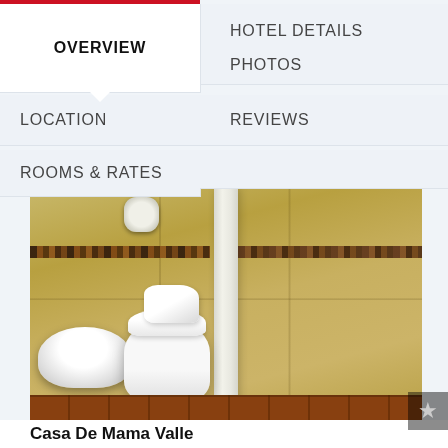OVERVIEW
HOTEL DETAILS
PHOTOS
LOCATION
REVIEWS
ROOMS & RATES
[Figure (photo): Hotel bathroom with yellow/tan ceramic tiles, a mosaic border band, white sink on the left, white toilet in the center with folded towels on top, a white shower curtain on the right side, a hairdryer mounted on the wall, and terracotta floor tiles.]
Casa De Mama Valle